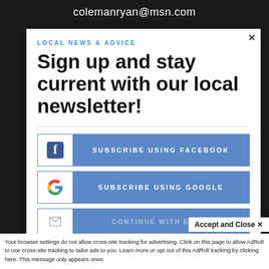colemanryan@msn.com
LOCAL NEWS & ADVICE
Sign up and stay current with our local newsletter!
[Figure (screenshot): Subscribe Using Facebook button with Facebook icon]
[Figure (screenshot): Subscribe Using Google button with Google G icon]
[Figure (screenshot): Continue with Email button (partially visible)]
Accept and Close ✕
Your browser settings do not allow cross-site tracking for advertising. Click on this page to allow AdRoll to use cross-site tracking to tailor ads to you. Learn more or opt out of this AdRoll tracking by clicking here. This message only appears once.